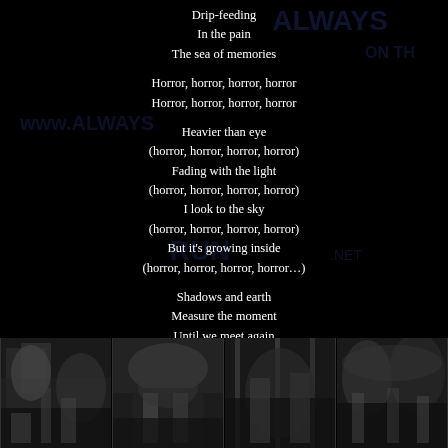Drip-feeding
In the pain
The sea of memories
Horror, horror, horror, horror
Horror, horror, horror, horror
Heavier than eye
(horror, horror, horror, horror)
Fading with the light
(horror, horror, horror, horror)
I look to the sky
(horror, horror, horror, horror)
But it’s growing inside
(horror, horror, horror, horror…)
Shadows and earth
Measure the moment
Until we meet again
Beyond the clouds
All we ever wanted was a way
To talk about the way you were falling down
[Figure (photo): Strip of four black-and-white photographs showing band/concert imagery at the bottom of the page]